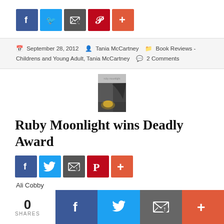[Figure (infographic): Social share buttons row: Facebook (blue), Twitter (light blue), Email (dark gray), Pinterest (red), Plus/more (orange-red)]
September 28, 2012   Tania McCartney   Book Reviews - Childrens and Young Adult, Tania McCartney   2 Comments
[Figure (photo): Small book cover thumbnail for Ruby Moonlight - dark moody cover with a light orb/moon]
Ruby Moonlight wins Deadly Award
[Figure (infographic): Social share buttons row: Facebook (blue), Twitter (light blue), Email (dark gray), Pinterest (red), Plus/more (orange-red)]
Ali Cobby
[Figure (infographic): Bottom sticky share bar: 0 SHARES count, Facebook, Twitter, Email, Plus buttons]